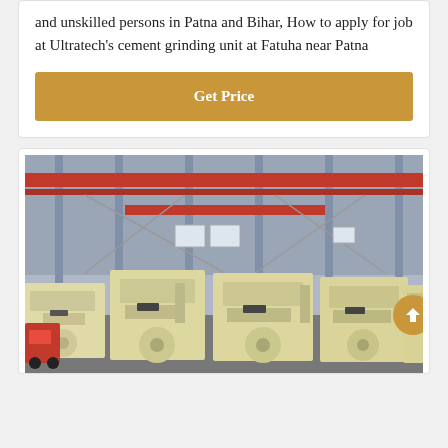and unskilled persons in Patna and Bihar, How to apply for job at Ultratech's cement grinding unit at Fatuha near Patna
[Figure (other): Get Price button (golden/tan colored button)]
[Figure (photo): Industrial factory interior showing multiple large yellow/cream colored impact crushers or cement grinding machines lined up in a row, with red overhead cranes and steel structural framework visible in the background.]